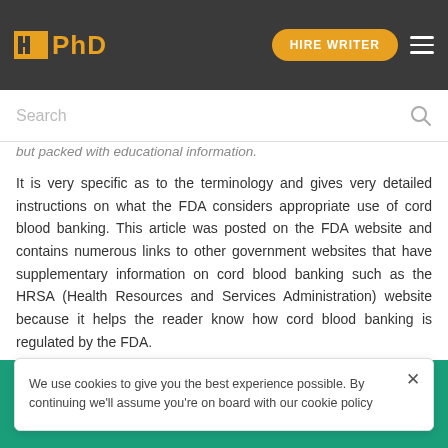IPhD | HIRE WRITER
Search
but packed with educational information.
It is very specific as to the terminology and gives very detailed instructions on what the FDA considers appropriate use of cord blood banking. This article was posted on the FDA website and contains numerous links to other government websites that have supplementary information on cord blood banking such as the HRSA (Health Resources and Services Administration) website because it helps the reader know how cord blood banking is regulated by the FDA.
We use cookies to give you the best experience possible. By continuing we'll assume you're on board with our cookie policy
HIRE WRITER